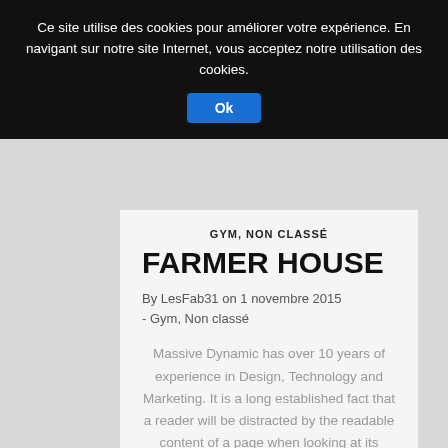Ce site utilise des cookies pour améliorer votre expérience. En navigant sur notre site Internet, vous acceptez notre utilisation des cookies.
Ok
GYM, NON CLASSÉ
FARMER HOUSE
By LesFab31 on 1 novembre 2015 - Gym, Non classé
Massive Dynamic has over 10 years of experience in Design, Technology and Marketing. It is a long established fact that a reader will be distracted by the readable content of a page when looking at its layout. The point of using Lorem Ipsum is that it has a more-or-less normal distribution of letters, as opposed to using 'Content here, content here'